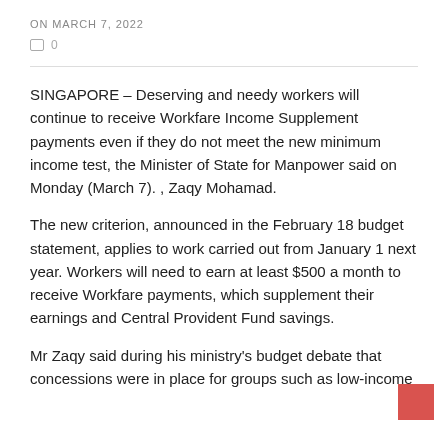ON MARCH 7, 2022
□ 0
SINGAPORE – Deserving and needy workers will continue to receive Workfare Income Supplement payments even if they do not meet the new minimum income test, the Minister of State for Manpower said on Monday (March 7). , Zaqy Mohamad.
The new criterion, announced in the February 18 budget statement, applies to work carried out from January 1 next year. Workers will need to earn at least $500 a month to receive Workfare payments, which supplement their earnings and Central Provident Fund savings.
Mr Zaqy said during his ministry's budget debate that concessions were in place for groups such as low-income